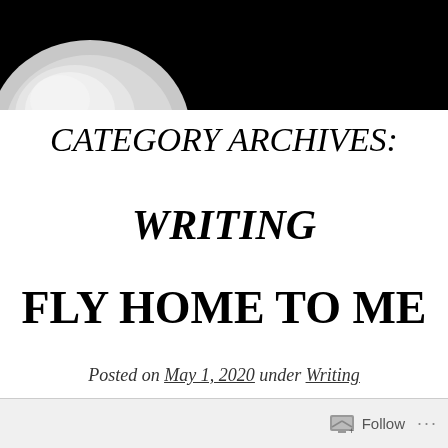[Figure (photo): Dark header image with black background and a partial white/silver circular shape visible at lower left, resembling a planet or moon against black space.]
CATEGORY ARCHIVES:
WRITING
FLY HOME TO ME
Posted on May 1, 2020 under Writing
Follow ...